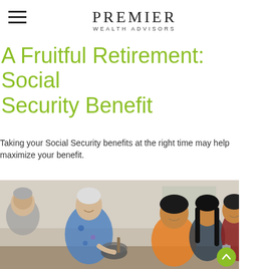PREMIER WEALTH ADVISORS
A Fruitful Retirement: Social Security Benefit
Taking your Social Security benefits at the right time may help maximize your benefit.
[Figure (photo): An elderly woman serving food from a mortar bowl to a smiling multi-generational family seated at a dining table]